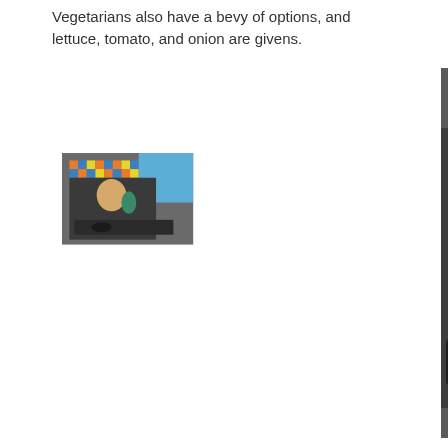Vegetarians also have a bevy of options, and lettuce, tomato, and onion are givens.
[Figure (photo): A baby or toddler sitting in a dark grey/black stroller with a tray, drinking from a green sippy cup. The background shows a colorful checkered/tiled pattern and what appears to be a restaurant or food service area with a person in the background.]